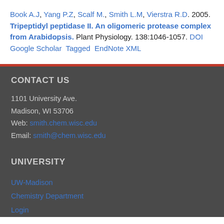Book A.J, Yang P.Z, Scalf M., Smith L.M, Vierstra R.D. 2005. Tripeptidyl peptidase II. An oligomeric protease complex from Arabidopsis. Plant Physiology. 138:1046-1057. DOI  Google Scholar  Tagged  EndNote XML
CONTACT US
1101 University Ave.
Madison, WI 53706
Web: smith.chem.wisc.edu
Email: smith@chem.wisc.edu
UNIVERSITY
UW-Madison
Chemistry Department
Login